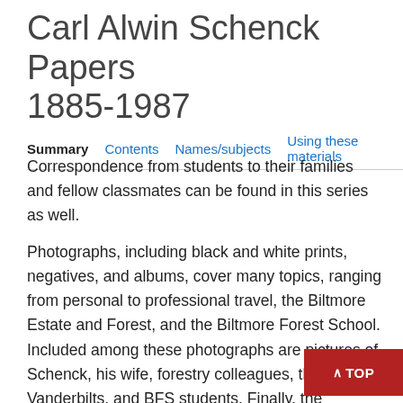Carl Alwin Schenck Papers 1885-1987
Summary  Contents  Names/subjects  Using these materials
Correspondence from students to their families and fellow classmates can be found in this series as well.
Photographs, including black and white prints, negatives, and albums, cover many topics, ranging from personal to professional travel, the Biltmore Estate and Forest, and the Biltmore Forest School. Included among these photographs are pictures of Schenck, his wife, forestry colleagues, the Vanderbilts, and BFS students. Finally, the collection contains artifacts pertaining to Schenck's life and the Biltmore Forest School.